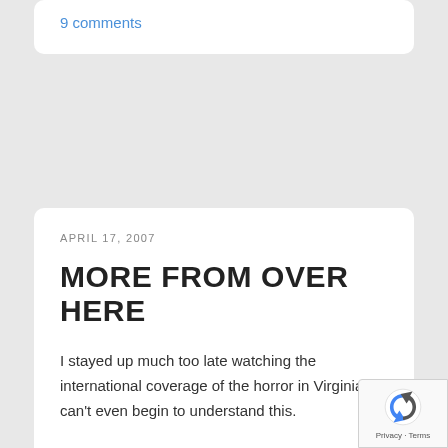9 comments
APRIL 17, 2007
MORE FROM OVER HERE
I stayed up much too late watching the international coverage of the horror in Virginia. I can't even begin to understand this.
And I feel sort of weird feeling chipper and talking about something else, like my experience here. The shootings were the topic of every conversation last night. While I was working out in the hotel gym, Poles kept staring at the TV…